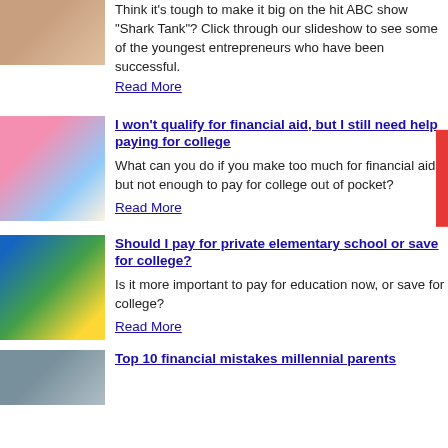Think it's tough to make it big on the hit ABC show "Shark Tank"? Click through our slideshow to see some of the youngest entrepreneurs who have been successful.
Read More
[Figure (photo): Photo of a child on a red stool]
I won't qualify for financial aid, but I still need help paying for college
What can you do if you make too much for financial aid, but not enough to pay for college out of pocket?
Read More
[Figure (photo): Photo of children, a girl in pink in front]
Should I pay for private elementary school or save for college?
Is it more important to pay for education now, or save for college?
Read More
[Figure (photo): Photo of a hopscotch game with dollar signs]
Top 10 financial mistakes millennial parents
[Figure (photo): Thumbnail photo for millennial parents article]